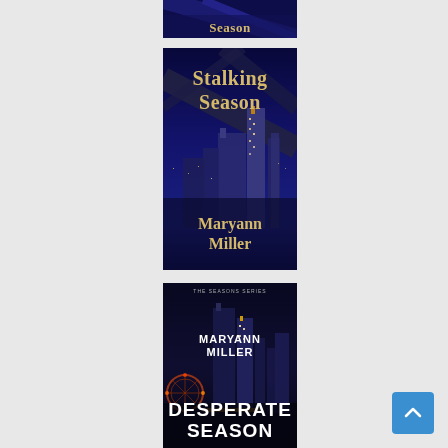[Figure (illustration): Partial top of book cover - dark blue background with gold text 'Season' at bottom, appears to be a cropped book cover]
[Figure (illustration): Book cover for 'Stalking Season' by Maryann Miller. Dark blue night sky background with city skyline (Dallas) and diagonal structural beams. Gold serif title text 'Stalking Season' at top and author name 'Maryann Miller' at bottom.]
[Figure (illustration): Book cover for 'Desperate Season' by Maryann Miller. Dark night cityscape background with colorful city lights. Series label 'The Seasons Series' at top, author name 'MARYANN MILLER' in white, large bold white title 'DESPERATE SEASON' at bottom.]